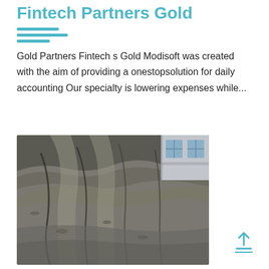Fintech Partners Gold
Gold Partners Fintech s Gold Modisoft was created with the aim of providing a onestopsolution for daily accounting Our specialty is lowering expenses while...
[Figure (photo): Outdoor photo showing rough textured sandy or rocky ground with long shadows cast across it, and a building structure visible in the upper right corner with windows.]